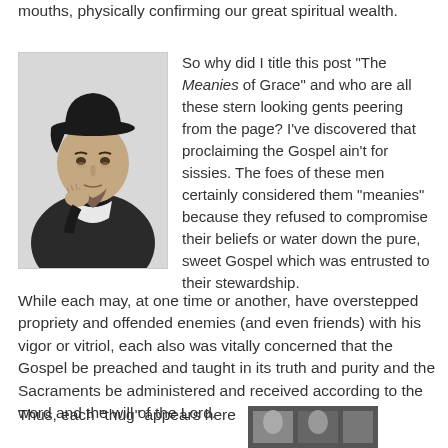mouths, physically confirming our great spiritual wealth.
[Figure (illustration): Black and white engraved portrait of a stern-looking historical figure, wearing a dark cloak and hat, with hand raised to chin in a thoughtful pose.]
So why did I title this post "The Meanies of Grace" and who are all these stern looking gents peering from the page? I've discovered that proclaiming the Gospel ain't for sissies. The foes of these men certainly considered them "meanies" because they refused to compromise their beliefs or water down the pure, sweet Gospel which was entrusted to their stewardship.
While each may, at one time or another, have overstepped propriety and offended enemies (and even friends) with his vigor or vitriol, each also was vitally concerned that the Gospel be preached and taught in its truth and purity and the Sacraments be administered and received according to the word and the will of the Lord.
Thus, each "thug" appears here
[Figure (photo): Small dark photo at bottom right, partially visible.]